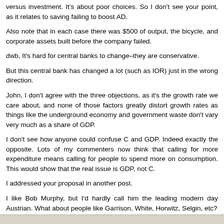versus investment. It's about poor choices. So I don't see your point, as it relates to saving failing to boost AD.
Also note that in each case there was $500 of output, the bicycle, and corporate assets built before the company failed.
dwb, It's hard for central banks to change–they are conservative.
But this central bank has changed a lot (such as IOR) just in the wrong direction.
John, I don't agree with the three objections, as it's the growth rate we care about, and none of those factors greatly distort growth rates as things like the underground economy and government waste don't vary very much as a share of GDP.
I don't see how anyone could confuse C and GDP. Indeed exactly the opposite. Lots of my commenters now think that calling for more expenditure means calling for people to spend more on consumption. This would show that the real issue is GDP, not C.
I addressed your proposal in another post.
I like Bob Murphy, but I'd hardly call him the leading modern day Austrian. What about people like Garrison, White, Horwitz, Selgin, etc?
John, Bernanke is a horrible debater. Pathetic. I'd have no trouble debating him. I saw him in Congressional testimony having trouble with stupid questions that I could handle easily.